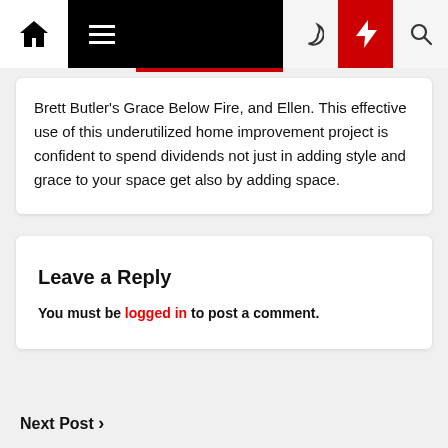Navigation bar with home, menu, moon, bolt, and search icons
Brett Butler's Grace Below Fire, and Ellen. This effective use of this underutilized home improvement project is confident to spend dividends not just in adding style and grace to your space get also by adding space.
Leave a Reply
You must be logged in to post a comment.
Next Post >